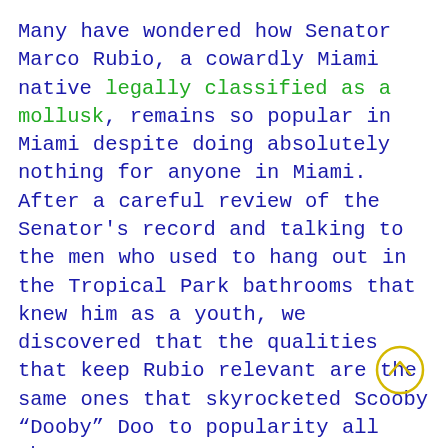Many have wondered how Senator Marco Rubio, a cowardly Miami native legally classified as a mollusk, remains so popular in Miami despite doing absolutely nothing for anyone in Miami. After a careful review of the Senator's record and talking to the men who used to hang out in the Tropical Park bathrooms that knew him as a youth, we discovered that the qualities that keep Rubio relevant are the same ones that skyrocketed Scooby “Dooby” Doo to popularity all those years ago.
Here are 5 ways Marco Rubio is just